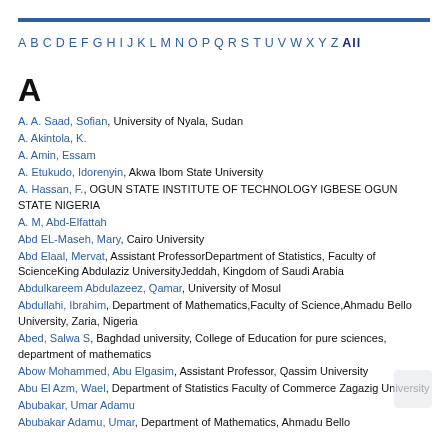A B C D E F G H I J K L M N O P Q R S T U V W X Y Z All
A
A. A. Saad, Sofian, University of Nyala, Sudan
A. Akintola, K.
A. Amin, Essam
A. Etukudo, Idorenyin, Akwa Ibom State University
A. Hassan, F., OGUN STATE INSTITUTE OF TECHNOLOGY IGBESE OGUN STATE NIGERIA
A. M, Abd-Elfattah
Abd EL-Maseh, Mary, Cairo University
Abd Elaal, Mervat, Assistant ProfessorDepartment of Statistics, Faculty of ScienceKing Abdulaziz UniversityJeddah, Kingdom of Saudi Arabia
Abdulkareem Abdulazeez, Qamar, University of Mosul
Abdullahi, Ibrahim, Department of Mathematics,Faculty of Science,Ahmadu Bello University, Zaria, Nigeria
Abed, Salwa S, Baghdad university, College of Education for pure sciences, department of mathematics
Abow Mohammed, Abu Elgasim, Assistant Professor, Qassim University
Abu El Azm, Wael, Department of Statistics Faculty of Commerce Zagazig University
Abubakar, Umar Adamu
Abubakar Adamu, Umar, Department of Mathematics, Ahmadu Bello